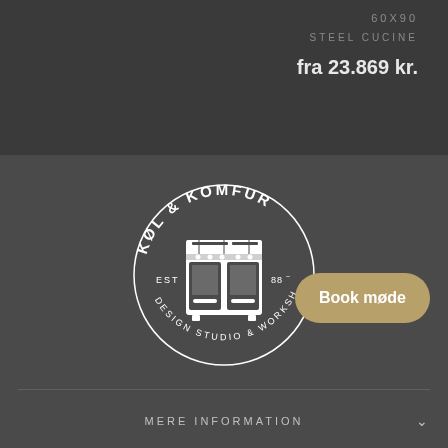60X90
STEEL CUCINE
fra 23.869 kr.
[Figure (logo): Kol & Komfur circular logo with a stove/range illustration in the center, text reading KOL & KOMFUR EST 88 DESIGN STUDIO & WORKSHOP arranged in a circle]
Book møde
MERE INFORMATION
MERE INSPIRATION
SOCIALT